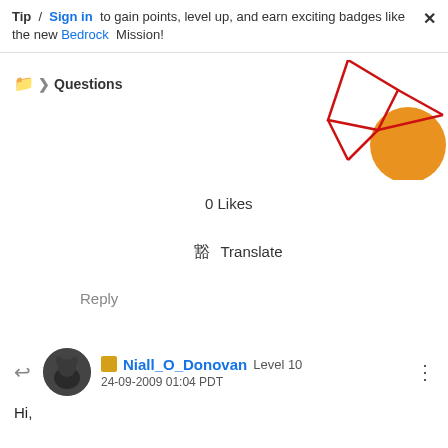Tip / Sign in to gain points, level up, and earn exciting badges like the new Bedrock Mission!
Questions
[Figure (illustration): Decorative geometric illustration with red lines forming diamond/polygon shapes and an orange circle element in the top-right corner]
0 Likes
Translate
Reply
Niall_O_Donovan Level 10
24-09-2009 01:04 PDT

Hi,

I would recommend an if statement in the form before calling the trusted function to check the value of the fields for null values.

Also I have given examples for the other fields in